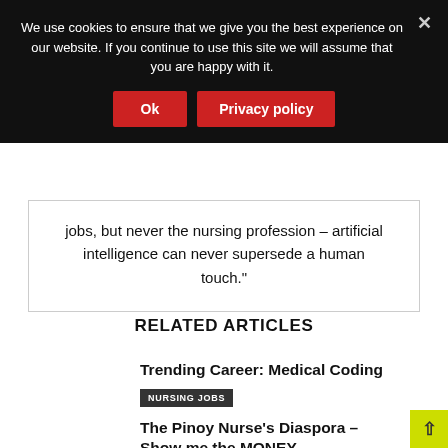We use cookies to ensure that we give you the best experience on our website. If you continue to use this site we will assume that you are happy with it.
Ok | Privacy policy
jobs, but never the nursing profession – artificial intelligence can never supersede a human touch."
RELATED ARTICLES
Trending Career: Medical Coding
NURSING JOBS
The Pinoy Nurse's Diaspora – Show me the MONEY